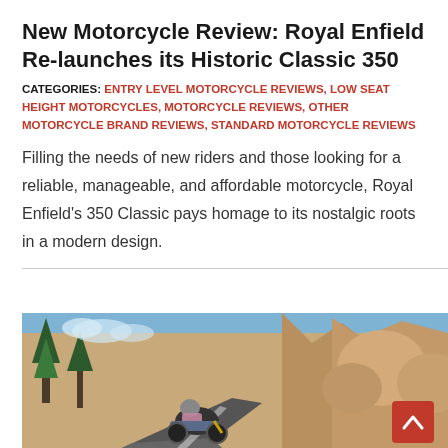New Motorcycle Review: Royal Enfield Re-launches its Historic Classic 350
CATEGORIES: ENTRY LEVEL MOTORCYCLE REVIEWS, LOW SEAT HEIGHT MOTORCYCLES, MOTORCYCLE REVIEWS, OTHER MOTORCYCLE BRAND REVIEWS, STANDARD MOTORCYCLE REVIEWS
Filling the needs of new riders and those looking for a reliable, manageable, and affordable motorcycle, Royal Enfield's 350 Classic pays homage to its nostalgic roots in a modern design.
[Figure (photo): A motorcyclist riding on a winding mountain road next to rocky cliffs and pine trees, with a red scroll-to-top button in the bottom-right corner.]